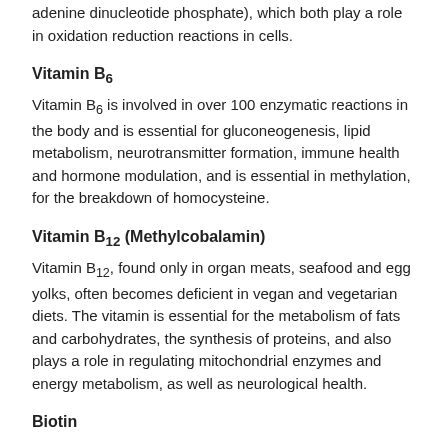adenine dinucleotide phosphate), which both play a role in oxidation reduction reactions in cells.
Vitamin B6
Vitamin B6 is involved in over 100 enzymatic reactions in the body and is essential for gluconeogenesis, lipid metabolism, neurotransmitter formation, immune health and hormone modulation, and is essential in methylation, for the breakdown of homocysteine.
Vitamin B12 (Methylcobalamin)
Vitamin B12, found only in organ meats, seafood and egg yolks, often becomes deficient in vegan and vegetarian diets. The vitamin is essential for the metabolism of fats and carbohydrates, the synthesis of proteins, and also plays a role in regulating mitochondrial enzymes and energy metabolism, as well as neurological health.
Biotin